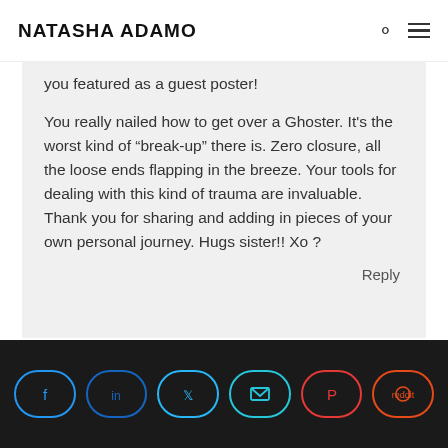NATASHA ADAMO
you featured as a guest poster!
You really nailed how to get over a Ghoster. It's the worst kind of “break-up” there is. Zero closure, all the loose ends flapping in the breeze. Your tools for dealing with this kind of trauma are invaluable. Thank you for sharing and adding in pieces of your own personal journey. Hugs sister!! Xo ?
Reply